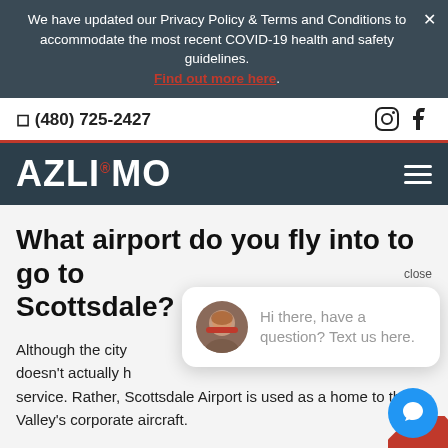We have updated our Privacy Policy & Terms and Conditions to accommodate the most recent COVID-19 health and safety guidelines. Find out more here.
(480) 725-2427
AZLIMO
What airport do you fly into to go to Scottsdale?
Although the city doesn't actually h service. Rather, Scottsdale Airport is used as a home to the Valley's corporate aircraft.
For this reason, people who are flying to Scottsdale will